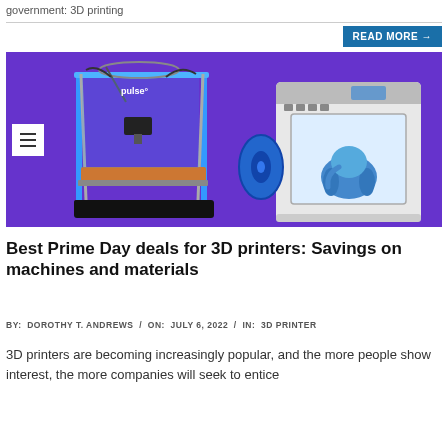government: 3D printing
[Figure (screenshot): Button labeled READ MORE → with a teal/blue background]
[Figure (photo): Two 3D printers on a purple background: a blue open-frame Pulse 3D printer on the left, and a white enclosed 3D printer with a blue filament spool on the right.]
Best Prime Day deals for 3D printers: Savings on machines and materials
BY:  DOROTHY T. ANDREWS  /  ON:  JULY 6, 2022  /  IN:  3D PRINTER
3D printers are becoming increasingly popular, and the more people show interest, the more companies will seek to entice